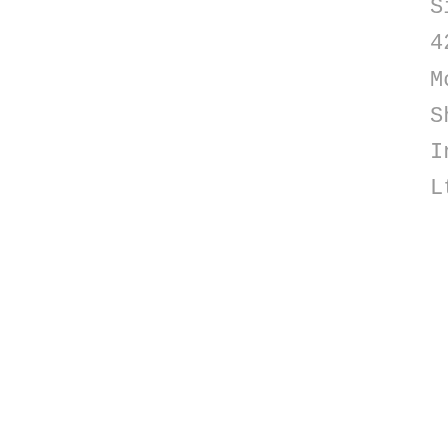Sinotruck HOWO 6X4 150 420HP Heavy Duty Prime Mover Tractor Truck - Shandong Qiteli International Trade Co., Ltd.
Get a Quote
[Figure (photo): Orange Sinotruck HOWO heavy duty prime mover tractor truck parked in front of a dealership building]
Sinotruck HOWO 4x2 6 Wheeler 290HP Prime Mover Tractor
Prime Mover Truck for sale, new Sinotruck HOWO 4x2 6 Wheeler 290HP